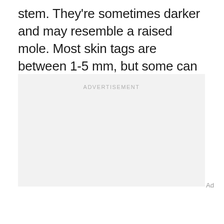stem. They're sometimes darker and may resemble a raised mole. Most skin tags are between 1-5 mm, but some can grow as large as a few centimeters.
[Figure (other): Advertisement placeholder box with light gray background and 'ADVERTISEMENT' label text centered at top]
Ad